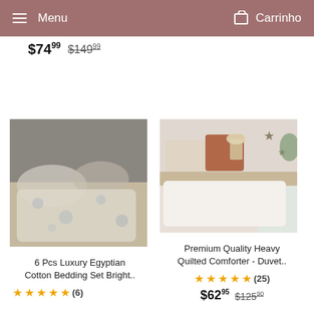Menu   Carrinho
$74.99  $149.99
[Figure (photo): Floral cotton bedding set on a bed with gray wood background]
6 Pcs Luxury Egyptian Cotton Bedding Set Bright..
★★★★★ (6)
[Figure (photo): White heavy quilted comforter/duvet on a bed in a bright room with star decorations]
Premium Quality Heavy Quilted Comforter - Duvet..
★★★★★ (25)  $62.95  $125.90